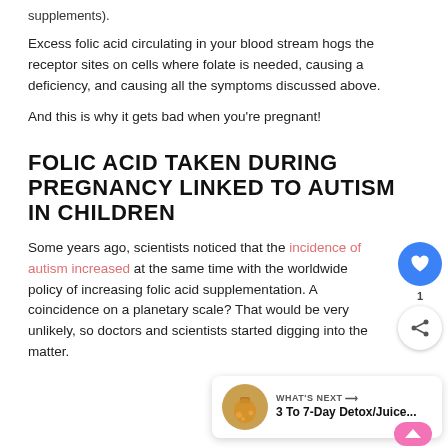supplements).
Excess folic acid circulating in your blood stream hogs the receptor sites on cells where folate is needed, causing a deficiency, and causing all the symptoms discussed above.
And this is why it gets bad when you're pregnant!
FOLIC ACID TAKEN DURING PREGNANCY LINKED TO AUTISM IN CHILDREN
Some years ago, scientists noticed that the incidence of autism increased at the same time with the worldwide policy of increasing folic acid supplementation. A coincidence on a planetary scale? That would be very unlikely, so doctors and scientists started digging into the matter.